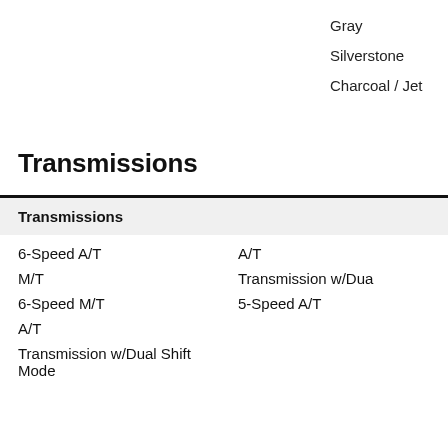Gray
Silverstone
Charcoal / Jet
Transmissions
| Transmissions |  |
| --- | --- |
| 6-Speed A/T | A/T |
| M/T | Transmission w/Dua |
| 6-Speed M/T | 5-Speed A/T |
| A/T |  |
| Transmission w/Dual Shift Mode |  |